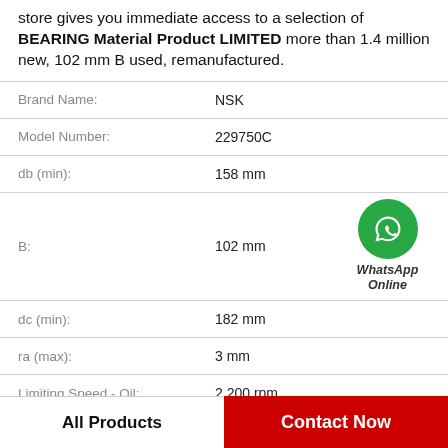store gives you immediate access to a selection of BEARING Material Product LIMITED more than 1.4 million new, 102 mm B used, remanufactured.
| Property | Value |
| --- | --- |
| Brand Name: | NSK |
| Model Number: | 229750C |
| db (min): | 158 mm |
| B: | 102 mm |
| dc (min): | 182 mm |
| ra (max): | 3 mm |
| Limiting Speed - Oil: | 2,200 rpm |
| Configuration: | Single Row |
[Figure (logo): WhatsApp Online green phone icon with text 'WhatsApp Online']
All Products
Contact Now